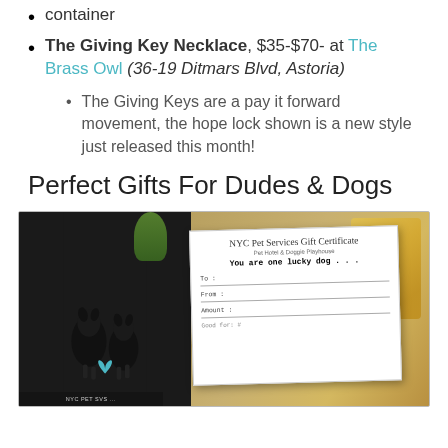container
The Giving Key Necklace, $35-$70- at The Brass Owl (36-19 Ditmars Blvd, Astoria)
The Giving Keys are a pay it forward movement, the hope lock shown is a new style just released this month!
Perfect Gifts For Dudes & Dogs
[Figure (photo): Photo showing an NYC Pet Services Gift Certificate card next to a silhouette image of dogs, with a gold/bronze decorative object in the background and green plant. The certificate reads: NYC Pet Services Gift Certificate, Pet Hotel & Doggie Playhouse, You are one lucky dog..., To:, From:, Amount:]